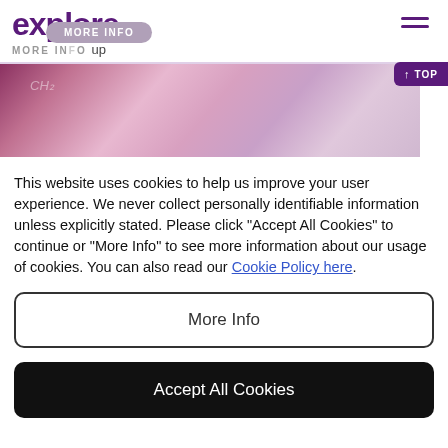explore MORE INFO
[Figure (photo): Close-up blurred pink/purple macro photo, partially cropped, with text overlay CH2]
This website uses cookies to help us improve your user experience. We never collect personally identifiable information unless explicitly stated. Please click "Accept All Cookies" to continue or "More Info" to see more information about our usage of cookies. You can also read our Cookie Policy here.
More Info
Accept All Cookies